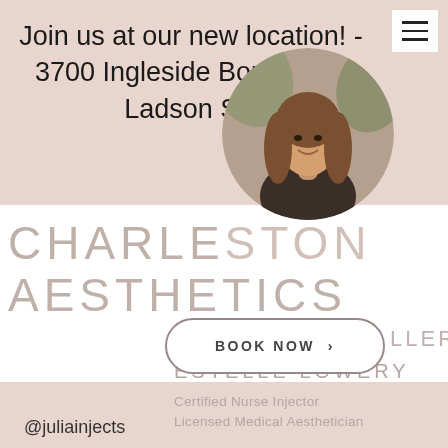[Figure (screenshot): Hamburger menu icon (three horizontal lines) in white box, top right corner]
Join us at our new location! - 3700 Ingleside Boulevard, Ladson SC
[Figure (photo): Circular profile photo of a woman with long brown hair, smiling, in front of green foliage background]
CHARLESTON AESTHETICS
[Figure (other): BOOK NOW button with arrow, pill-shaped border]
LLER
ESTELLE LOWERY
Certified Nurse Injector
Licensed Medical Aesthetician
@juliainjects